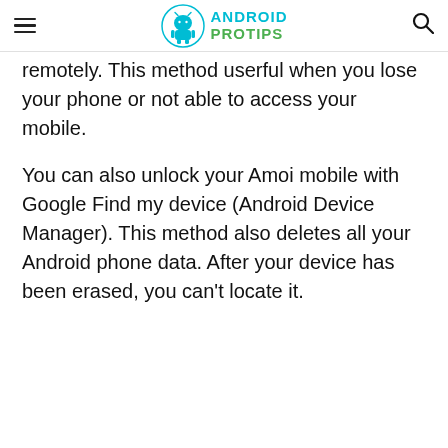Android Pro Tips
remotely. This method userful when you lose your phone or not able to access your mobile.
You can also unlock your Amoi mobile with Google Find my device (Android Device Manager). This method also deletes all your Android phone data. After your device has been erased, you can't locate it.